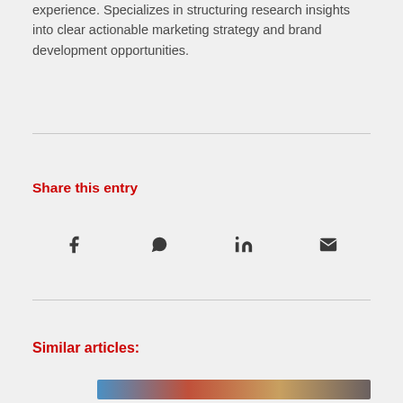experience. Specializes in structuring research insights into clear actionable marketing strategy and brand development opportunities.
Share this entry
[Figure (infographic): Social sharing icons: Facebook (f), WhatsApp (chat bubble), LinkedIn (in), Email (envelope)]
Similar articles:
[Figure (photo): Partial image strip at bottom of page]